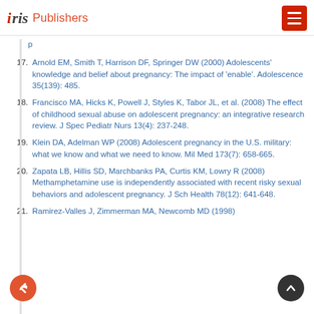iris Publishers
p
17. Arnold EM, Smith T, Harrison DF, Springer DW (2000) Adolescents' knowledge and belief about pregnancy: The impact of 'enable'. Adolescence 35(139): 485.
18. Francisco MA, Hicks K, Powell J, Styles K, Tabor JL, et al. (2008) The effect of childhood sexual abuse on adolescent pregnancy: an integrative research review. J Spec Pediatr Nurs 13(4): 237-248.
19. Klein DA, Adelman WP (2008) Adolescent pregnancy in the U.S. military: what we know and what we need to know. Mil Med 173(7): 658-665.
20. Zapata LB, Hillis SD, Marchbanks PA, Curtis KM, Lowry R (2008) Methamphetamine use is independently associated with recent risky sexual behaviors and adolescent pregnancy. J Sch Health 78(12): 641-648.
21. Ramirez-Valles J, Zimmerman MA, Newcomb MD (1998)